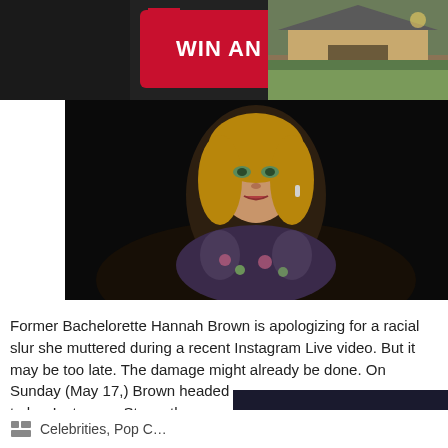[Figure (photo): Advertisement banner: WIN AN OZARK CABIN on dark background with cabin photo on right]
[Figure (photo): Video thumbnail of a blonde woman (Former Bachelorette Hannah Brown) against dark background]
Former Bachelorette Hannah Brown is apologizing for a racial slur she muttered during a recent Instagram Live video. But it may be too late. The damage might already be done. On Sunday (May 17,) Brown headed to her Instagram Stor… the n-word while she…
Read more
[Figure (screenshot): Dark video player overlay with blue triangular logo and play button, mute icon visible]
Celebrities, Pop C…